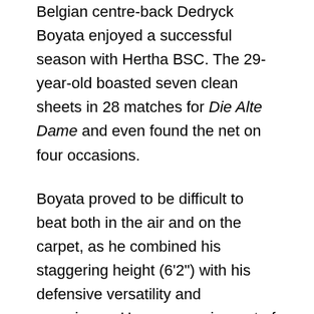Belgian centre-back Dedryck Boyata enjoyed a successful season with Hertha BSC. The 29-year-old boasted seven clean sheets in 28 matches for Die Alte Dame and even found the net on four occasions.
Boyata proved to be difficult to beat both in the air and on the carpet, as he combined his staggering height (6'2") with his defensive versatility and experience. He was a major part of Hertha's revival and has brought the likes of young Jordan Torunarigha a long way with his journeyman expertise.
Bruno Labbadia, Hertha BSC (manager):